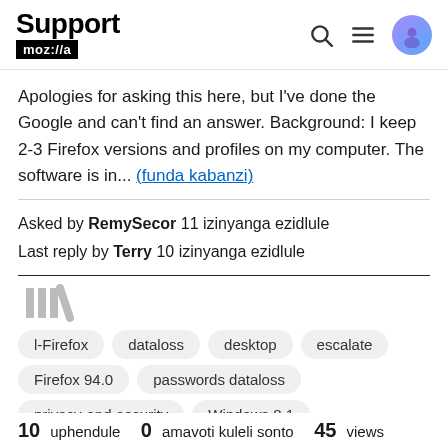Support moz://a
Apologies for asking this here, but I've done the Google and can't find an answer. Background: I keep 2-3 Firefox versions and profiles on my computer. The software is in... (funda kabanzi)
Asked by RemySecor 11 izinyanga ezidlule
Last reply by Terry 10 izinyanga ezidlule
[Figure (other): Library/bookmark icon (vertical bars)]
l-Firefox
dataloss
desktop
escalate
Firefox 94.0
passwords dataloss
privacy-and-security
Windows 8.1
10 uphendule   0 amavoti kuleli sonto   45 views